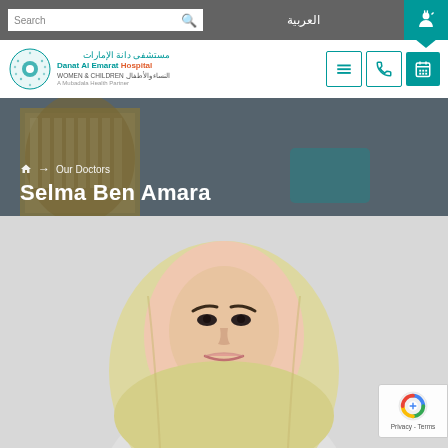Search | العربية
[Figure (logo): Danat Al Emarat Hospital logo with Arabic text مستشفى دانة الإمارات, WOMEN & CHILDREN, A Mubadala Health Partner]
[Figure (photo): Hero banner with hospital building photo and breadcrumb navigation showing home icon, arrow, Our Doctors, and title Selma Ben Amara]
Selma Ben Amara
[Figure (photo): Professional photo of Dr. Selma Ben Amara wearing a light pink/yellow hijab against a grey background]